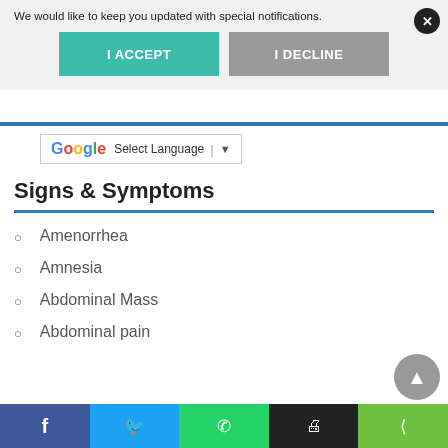We would like to keep you updated with special notifications.
I ACCEPT
I DECLINE
Select Language
Signs & Symptoms
Amenorrhea
Amnesia
Abdominal Mass
Abdominal pain